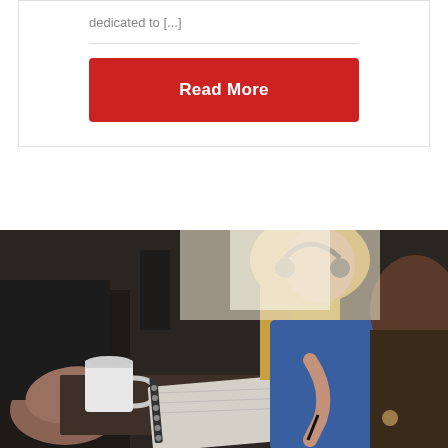dedicated to [...]
[Figure (other): Red 'Read More' button]
[Figure (photo): Photo of people sitting at a table, a woman with long blonde hair writing in a notebook, a coffee cup on the left, others around the table in a cafe/office setting.]